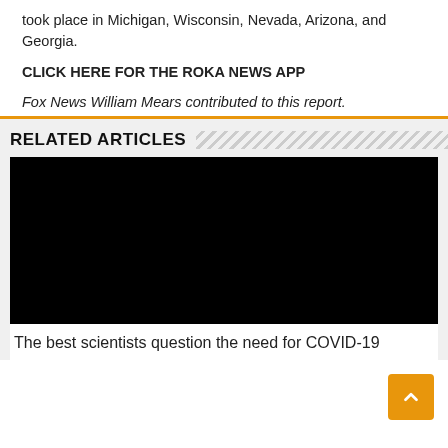took place in Michigan, Wisconsin, Nevada, Arizona, and Georgia.
CLICK HERE FOR THE ROKA NEWS APP
Fox News William Mears contributed to this report.
RELATED ARTICLES
[Figure (photo): Black rectangular image placeholder for related article thumbnail]
The best scientists question the need for COVID-19